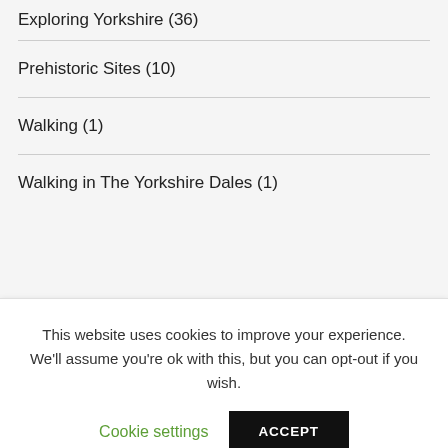Exploring Yorkshire (36)
Prehistoric Sites (10)
Walking (1)
Walking in The Yorkshire Dales (1)
This website uses cookies to improve your experience. We'll assume you're ok with this, but you can opt-out if you wish.
Walking on The Headland Way (1)
Walking on the Holderness Coastline (2)
Walking on the North Yorkshire Moors (7)
Walking on the South West Coast Path (7)